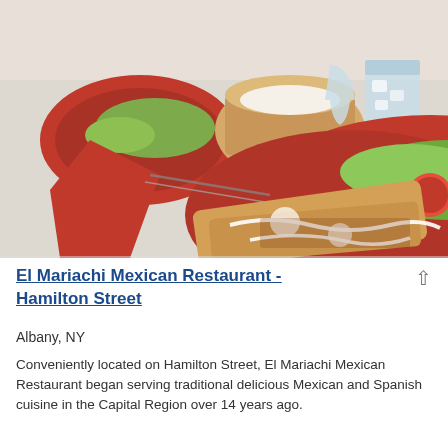[Figure (photo): Photo of Mexican food dishes on red plates at El Mariachi Mexican Restaurant. Foreground shows a red plate with quesadillas/enchiladas drizzled with sour cream and lettuce with tomato. Background shows another red plate with food, a basket of chips, and drinks including a glass with ice water.]
El Mariachi Mexican Restaurant - Hamilton Street
Albany, NY
Conveniently located on Hamilton Street, El Mariachi Mexican Restaurant began serving traditional delicious Mexican and Spanish cuisine in the Capital Region over 14 years ago.